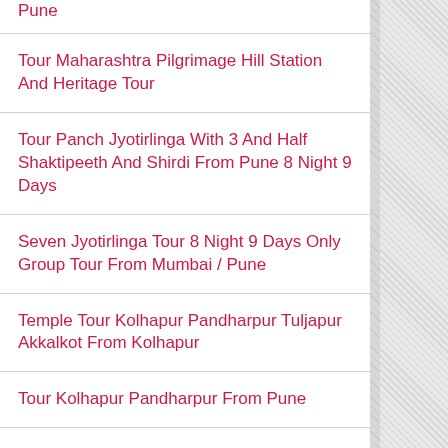Pune
Tour Maharashtra Pilgrimage Hill Station And Heritage Tour
Tour Panch Jyotirlinga With 3 And Half Shaktipeeth And Shirdi From Pune 8 Night 9 Days
Seven Jyotirlinga Tour 8 Night 9 Days Only Group Tour From Mumbai / Pune
Temple Tour Kolhapur Pandharpur Tuljapur Akkalkot From Kolhapur
Tour Kolhapur Pandharpur From Pune